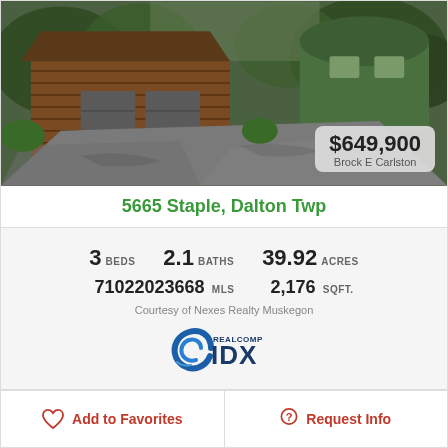[Figure (photo): Exterior photo of a log cabin home with a large driveway and attached garage, green barn visible in background, surrounded by trees]
$649,900
Brock E Carlston
5665 Staple, Dalton Twp
3 BEDS   2.1 BATHS   39.92 ACRES
71022023668 MLS   2,176 SQFT.
Courtesy of Nexes Realty Muskegon
[Figure (logo): REALCOMP IDX logo]
Add to Favorites
Request Info